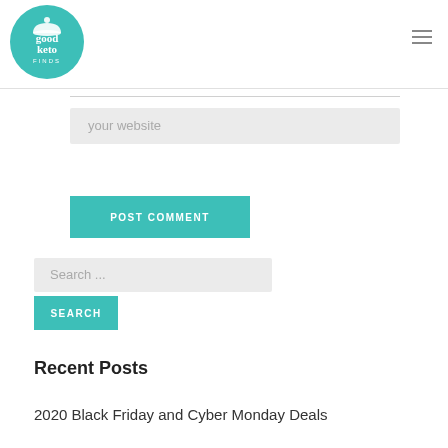[Figure (logo): Good Keto Finds logo — teal circle with white text reading 'good keto FINDS' with a cloche icon]
your website
POST COMMENT
Search ...
SEARCH
Recent Posts
2020 Black Friday and Cyber Monday Deals